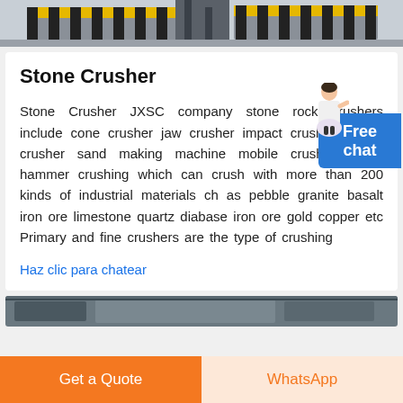[Figure (photo): Top banner image of a stone crusher industrial facility with yellow and black safety stripes visible on machinery]
Stone Crusher
Stone Crusher JXSC company stone rock crushers include cone crusher jaw crusher impact crusher mobile crusher sand making machine mobile crushing plant hammer crushing which can crush with more than 200 kinds of industrial materials ch as pebble granite basalt iron ore limestone quartz diabase iron ore gold copper etc Primary and fine crushers are the type of crushing
Haz clic para chatear
[Figure (photo): Bottom partial image of industrial stone crusher equipment]
Get a Quote
WhatsApp